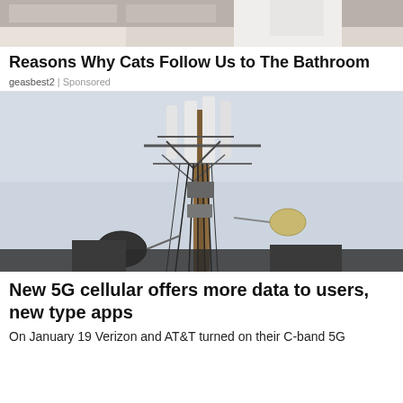[Figure (photo): Partial photo of a person in white shirt near bathroom fixtures, cropped at top]
Reasons Why Cats Follow Us to The Bathroom
geasbest2 | Sponsored
[Figure (photo): Cell tower / 5G telecommunications antenna mast with multiple antennas, cables and dishes against light sky]
New 5G cellular offers more data to users, new type apps
On January 19 Verizon and AT&T turned on their C-band 5G